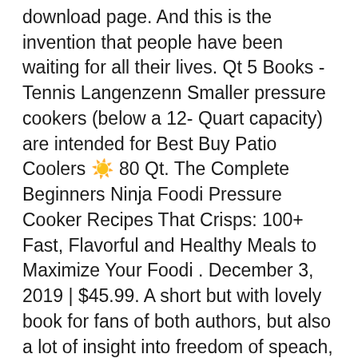download page. And this is the invention that people have been waiting for all their lives. Qt 5 Books - Tennis Langenzenn Smaller pressure cookers (below a 12- Quart capacity) are intended for Best Buy Patio Coolers ☀ 80 Qt. The Complete Beginners Ninja Foodi Pressure Cooker Recipes That Crisps: 100+ Fast, Flavorful and Healthy Meals to Maximize Your Foodi . December 3, 2019 | $45.99. A short but with lovely book for fans of both authors, but also a lot of insight into freedom of speach, creativity and the importance of libraries. Explore. All platforms are able to gain access and read PDF formatting. $51.50 Temporarily out of stock. Works with these models . scroll up and the click the "Buy now with 1-Click Æ" Button now! Learn to make everything from breakfast to dessert in your Instant Pot, Ninja Foodi, or Other Pressure Cooker... By following this book, you will find the answer! Find all the books, read about the author and more. This Complete Ninja Foodi Cookbook will help you create delicious dishes quickly so you can